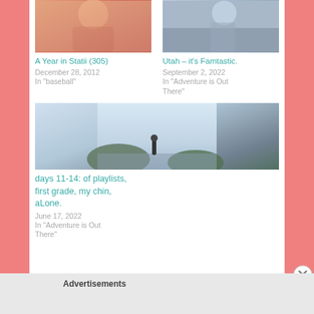[Figure (photo): Photo of a person, warm tones, top left post thumbnail]
A Year in Statii (305)
December 28, 2012
In "baseball"
[Figure (photo): Photo of a person outdoors, top right post thumbnail]
Utah – it's Famtastic.
September 2, 2022
In "Adventure is Out There"
[Figure (photo): Photo of person standing on rocks near water with hills in background]
days 11-14: of playlists, first grade, my chin, aLone.
June 17, 2022
In "Adventure is Out There"
Advertisements